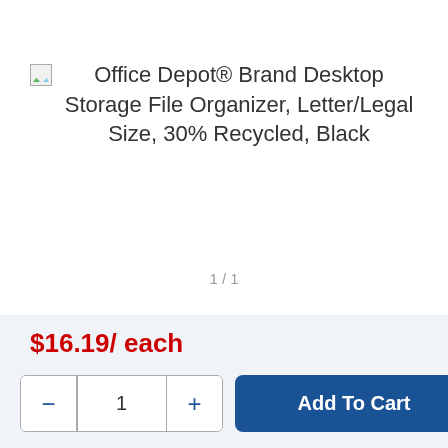Office Depot® Brand Desktop Storage File Organizer, Letter/Legal Size, 30% Recycled, Black
1 / 1
$16.19/ each
Add To Cart